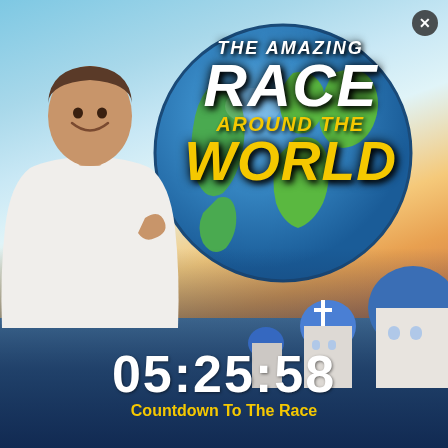[Figure (photo): The Amazing Race Around The World TV show promotional image featuring a smiling male host in a white shirt on the left, a globe with the show title overlaid in the center-right, and a Santorini Greece background with blue-domed churches and blue water. A countdown timer showing 05:25:58 and text 'Countdown To The Race' appears at the bottom. A close/X button is in the top right corner.]
THE AMAZING RACE AROUND THE WORLD
05:25:58
Countdown To The Race